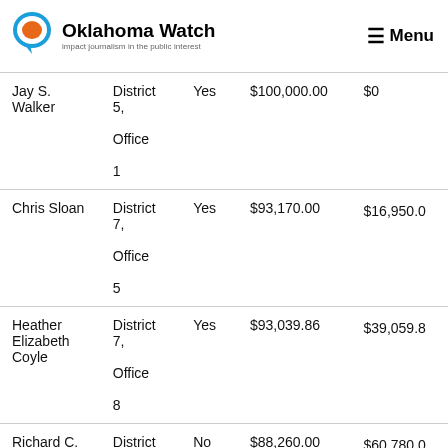Oklahoma Watch — impact journalism in the public interest | Menu
| Name | District | Yes/No | Amount 1 | Amount 2 |
| --- | --- | --- | --- | --- |
| Jay S. Walker | District 5, Office 1 | Yes | $100,000.00 | $0 |
| Chris Sloan | District 7, Office 5 | Yes | $93,170.00 | $16,950.00 |
| Heather Elizabeth Coyle | District 7, Office 8 | Yes | $93,039.86 | $39,059.86 |
| Richard C. Ogden | District 7, Office ... | No | $88,260.00 | $60,780.00 |